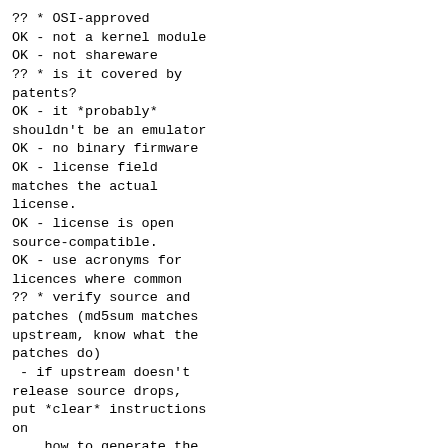?? * OSI-approved
OK - not a kernel module
OK - not shareware
?? * is it covered by
patents?
OK - it *probably*
shouldn't be an emulator
OK - no binary firmware
OK - license field
matches the actual
license.
OK - license is open
source-compatible.
OK - use acronyms for
licences where common
?? * verify source and
patches (md5sum matches
upstream, know what the
patches do)
 - if upstream doesn't
release source drops,
put *clear* instructions
on
    how to generate the
the source drop; ie.
  # svn export blah/tag
blah
  # tar cjf blah-
version-src.tar. bz2
blah